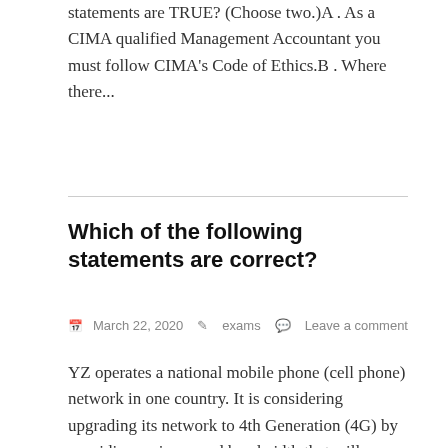statements are TRUE? (Choose two.)A . As a CIMA qualified Management Accountant you must follow CIMA's Code of Ethics.B . Where there...
Which of the following statements are correct?
March 22, 2020  exams  Leave a comment
YZ operates a national mobile phone (cell phone) network in one country. It is considering upgrading its network to 4th Generation (4G) by providing an improved bandwidth that will enable its customers faster access to the Internet. This investment will cost $29